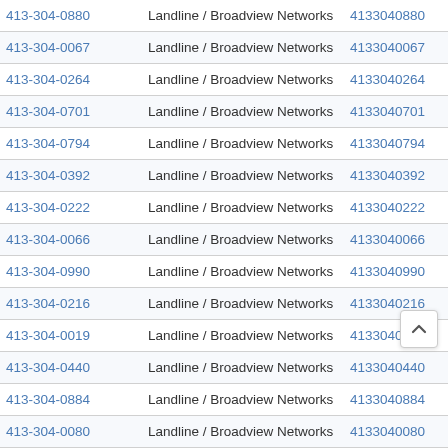| Phone | Type | Number | Action |
| --- | --- | --- | --- |
| 413-304-0880 | Landline / Broadview Networks | 4133040880 | View |
| 413-304-0067 | Landline / Broadview Networks | 4133040067 | View |
| 413-304-0264 | Landline / Broadview Networks | 4133040264 | View |
| 413-304-0701 | Landline / Broadview Networks | 4133040701 | View |
| 413-304-0794 | Landline / Broadview Networks | 4133040794 | View |
| 413-304-0392 | Landline / Broadview Networks | 4133040392 | View |
| 413-304-0222 | Landline / Broadview Networks | 4133040222 | View |
| 413-304-0066 | Landline / Broadview Networks | 4133040066 | View |
| 413-304-0990 | Landline / Broadview Networks | 4133040990 | View |
| 413-304-0216 | Landline / Broadview Networks | 4133040216 | View |
| 413-304-0019 | Landline / Broadview Networks | 4133040019 | View |
| 413-304-0440 | Landline / Broadview Networks | 4133040440 | View |
| 413-304-0884 | Landline / Broadview Networks | 4133040884 | View |
| 413-304-0080 | Landline / Broadview Networks | 4133040080 | View |
| 413-304-0668 | Landline / Broadview Networks | 4133040668 | View |
| 413-304-0686 | Landline / Broadview Networks | 4133040686 | View |
| 413-304-0688 | Landline / Broadview Networks | 4133040688 | View |
| 413-304-0112 | Landline / Broadview Networks | 4133040112 | View |
| 413-304-0430 | Landline / Broadview Networks | 4133040430 | View |